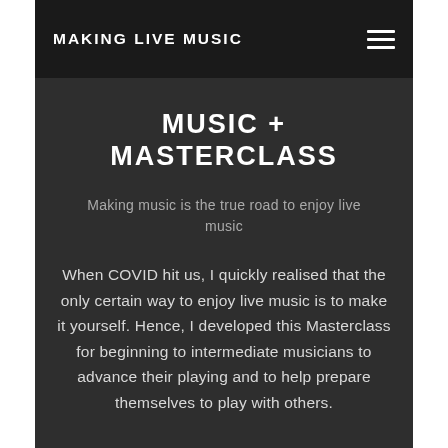MAKING LIVE MUSIC
MUSIC + MASTERCLASS
Making music is the true road to enjoy live music
When COVID hit us, I quickly realised that the only certain way to enjoy live music is to make it yourself. Hence, I developed this Masterclass for beginning to intermediate musicians to advance their playing and to help prepare themselves to play with others.